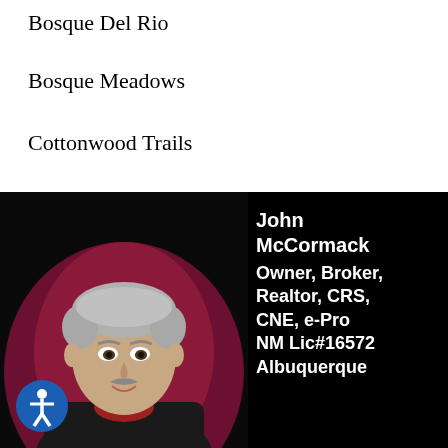Bosque Del Rio
Bosque Meadows
Cottonwood Trails
[Figure (photo): Professional headshot of John McCormack, a middle-aged man with grey hair and a mustache, smiling, wearing a dark jacket, against a dark red/maroon background]
John McCormack Owner, Broker, Realtor, CRS, CNE, e-Pro NM Lic#16572 Albuquerque